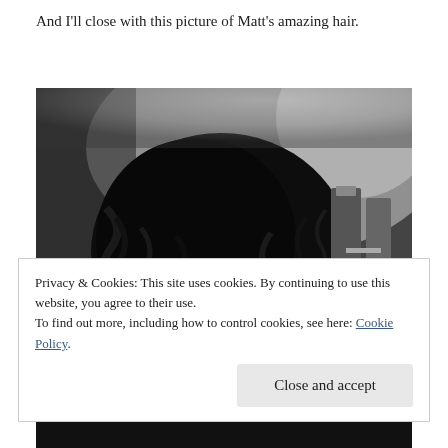And I'll close with this picture of Matt's amazing hair.
[Figure (photo): Black and white photograph of a person with voluminous curly dark hair, viewed from behind/side, with some items visible in the background.]
Privacy & Cookies: This site uses cookies. By continuing to use this website, you agree to their use.
To find out more, including how to control cookies, see here: Cookie Policy
Close and accept